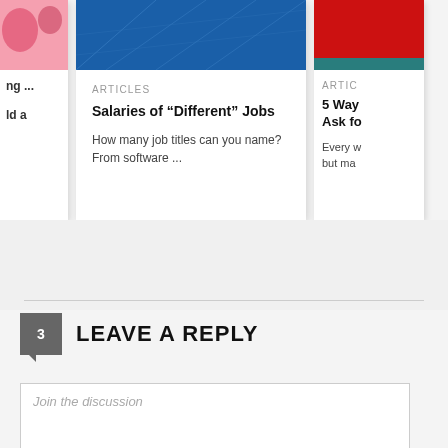[Figure (screenshot): Article card partially visible on the left: pink/red image top, text 'ng ...' and 'ld a' visible]
[Figure (screenshot): Article card center: blue header image with diagonal lines, ARTICLES category label, title 'Salaries of "Different" Jobs', excerpt 'How many job titles can you name? From software ...']
[Figure (screenshot): Article card partially visible on the right: red image top, ARTIC label, '5 Way Ask fo' title, 'Every w but ma' excerpt]
LEAVE A REPLY
Join the discussion